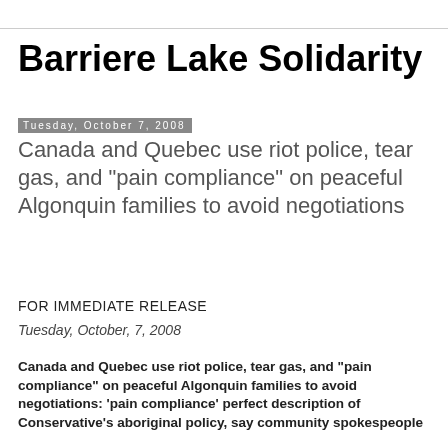Barriere Lake Solidarity
Tuesday, October 7, 2008
Canada and Quebec use riot police, tear gas, and "pain compliance" on peaceful Algonquin families to avoid negotiations
FOR IMMEDIATE RELEASE
Tuesday, October, 7, 2008
Canada and Quebec use riot police, tear gas, and "pain compliance" on peaceful Algonquin families to avoid negotiations: 'pain compliance' perfect description of Conservative's aboriginal policy, say community spokespeople